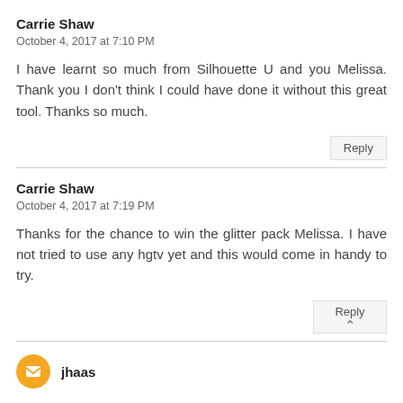Carrie Shaw
October 4, 2017 at 7:10 PM
I have learnt so much from Silhouette U and you Melissa. Thank you I don't think I could have done it without this great tool. Thanks so much.
Reply
Carrie Shaw
October 4, 2017 at 7:19 PM
Thanks for the chance to win the glitter pack Melissa. I have not tried to use any hgtv yet and this would come in handy to try.
Reply
jhaas